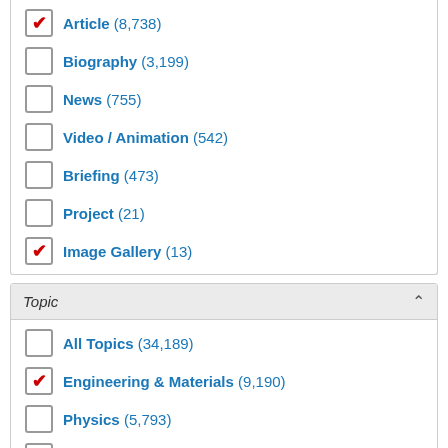Article (8,738)
Biography (3,199)
News (755)
Video / Animation (542)
Briefing (473)
Project (21)
Image Gallery (13)
Topic
All Topics (34,189)
Engineering & Materials (9,190)
Physics (5,793)
Biology & Biomedicine (5,059)
Earth Science (3,700)
Chemistry (2,849)
Zoology (2,718)
Health Sciences (2,374)
Astronomy & Space Science (2,020)
Botany (1,773)